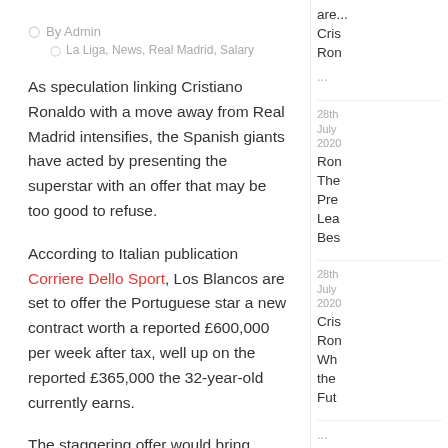By Admin
La Liga, News, Real Madrid, Salary
As speculation linking Cristiano Ronaldo with a move away from Real Madrid intensifies, the Spanish giants have acted by presenting the superstar with an offer that may be too good to refuse.
According to Italian publication Corriere Dello Sport, Los Blancos are set to offer the Portuguese star a new contract worth a reported £600,000 per week after tax, well up on the reported £365,000 the 32-year-old currently earns.
The staggering offer would bring
are... Cris Ron ...
28th July 2020
Ron The Pre Lea Bes
28th July 2020
Cris Ron Wh the Fut
...